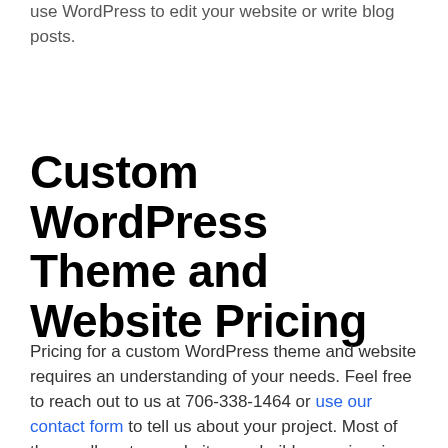We offer one on one training sessions to learn how to use WordPress to edit your website or write blog posts.
Custom WordPress Theme and Website Pricing
Pricing for a custom WordPress theme and website requires an understanding of your needs. Feel free to reach out to us at 706-338-1464 or use our contact form to tell us about your project. Most of the small custom websites we build range in price from $3,600